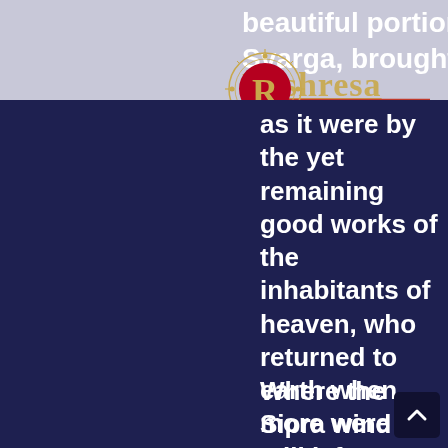beautiful portion of Svarga, brought down as it were by the yet remaining good works of the inhabitants of heaven, who returned to earth when more were still left—a small portion of their good deeds.

Where the Sipra wind (like a lover courting (his beloved one) for the sake of gratification of desire)
[Figure (logo): Red circular logo with letter R in gold, surrounded by decorative ring pattern, with gold and red text watermark 'Reshresa' overlapping]